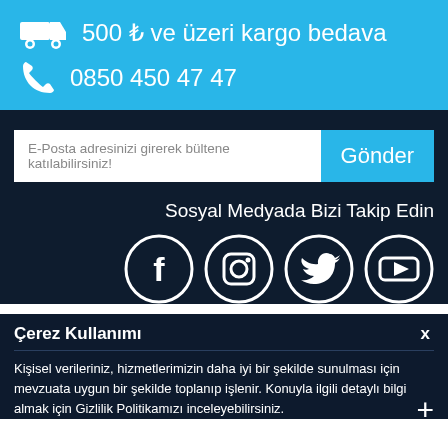500 ₺ ve üzeri kargo bedava
0850 450 47 47
E-Posta adresinizi girerek bültene katılabilirsiniz!
Gönder
Sosyal Medyada Bizi Takip Edin
[Figure (illustration): Social media icons: Facebook, Instagram, Twitter, YouTube — white icons in dark circular borders]
Çerez Kullanımı
Kişisel verileriniz, hizmetlerimizin daha iyi bir şekilde sunulması için mevzuata uygun bir şekilde toplanıp işlenir. Konuyla ilgili detaylı bilgi almak için Gizlilik Politikamızı inceleyebilirsiniz.